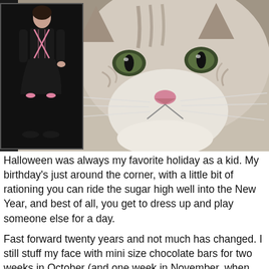[Figure (photo): Composite image: a close-up photo of a cat's face (tabby/white cat with green eyes and pink nose) filling most of the frame, with a small inset photo on the left showing a woman in a black Halloween costume (corset dress with pink accents, black stockings) against a dark background.]
Halloween was always my favorite holiday as a kid. My birthday's just around the corner, with a little bit of rationing you can ride the sugar high well into the New Year, and best of all, you get to dress up and play someone else for a day.
Fast forward twenty years and not much has changed. I still stuff my face with mini size chocolate bars for two weeks in October (and one week in November, when they're 50% off). I'm also enthralled with the idea of